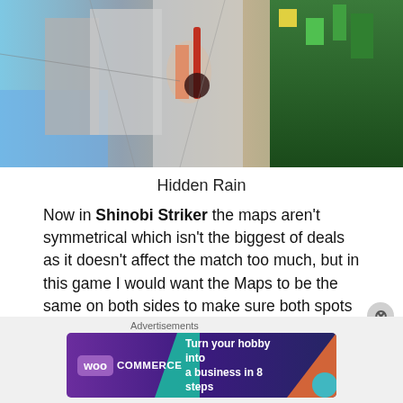[Figure (screenshot): In-game screenshot of Hidden Rain map from Naruto to Boruto: Shinobi Striker, showing a character with a large weapon in a colorful urban environment]
Hidden Rain
Now in Shinobi Striker the maps aren't symmetrical which isn't the biggest of deals as it doesn't affect the match too much, but in this game I would want the Maps to be the same on both sides to make sure both spots feel equal.
The size of the maps are perfect, but I feel
Advertisements
[Figure (illustration): WooCommerce advertisement banner: 'Turn your hobby into a business in 8 steps']